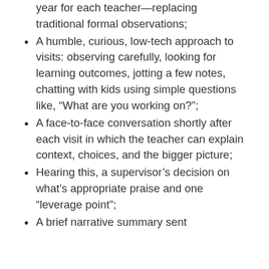year for each teacher—replacing traditional formal observations;
A humble, curious, low-tech approach to visits: observing carefully, looking for learning outcomes, jotting a few notes, chatting with kids using simple questions like, “What are you working on?”;
A face-to-face conversation shortly after each visit in which the teacher can explain context, choices, and the bigger picture;
Hearing this, a supervisor’s decision on what’s appropriate praise and one “leverage point”;
A brief narrative summary sent